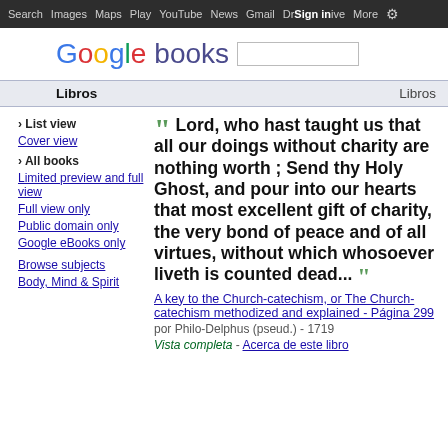Search  Images  Maps  Play  YouTube  News  Gmail  Drive  More  Sign in  ⚙
[Figure (logo): Google books logo with search box]
Libros                                                          Libros
› List view
Cover view
› All books
Limited preview and full view
Full view only
Public domain only
Google eBooks only
Browse subjects
Body, Mind & Spirit
❝ Lord, who hast taught us that all our doings without charity are nothing worth ; Send thy Holy Ghost, and pour into our hearts that most excellent gift of charity, the very bond of peace and of all virtues, without which whosoever liveth is counted dead... ❞
A key to the Church-catechism, or The Church-catechism methodized and explained - Página 299
por Philo-Delphus (pseud.) - 1719
Vista completa - Acerca de este libro